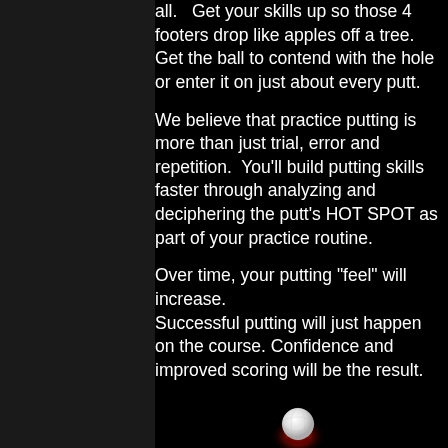all.   Get your skills up so those 4 footers drop like apples off a tree.  Get the ball to contend with the hole or enter it on just about every putt.
We believe that practice putting is more than just trial, error and repetition.  You'll build putting skills faster through analyzing and deciphering the putt's HOT SPOT as part of your practice routine.
Over time, your putting "feel" will increase. Successful putting will just happen on the course. Confidence and improved scoring will be the result.
[Figure (illustration): Golf ball with red glowing hot spot aura on black background]
Save the Critical Data of your putts.
Use the SAVE feature to capture those successful putts